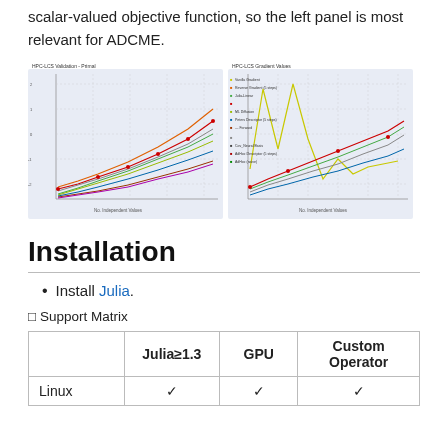scalar-valued objective function, so the left panel is most relevant for ADCME.
[Figure (continuous-plot): Two side-by-side line/scatter plots showing performance comparisons with multiple colored series and a legend on the right side.]
Installation
Install Julia.
⊞ Support Matrix
|  | Julia≥1.3 | GPU | Custom Operator |
| --- | --- | --- | --- |
| Linux | ✓ | ✓ | ✓ |